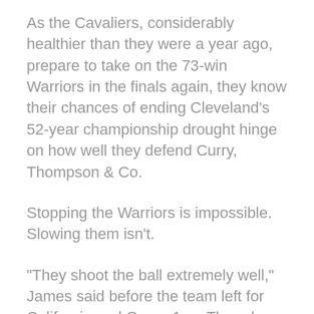As the Cavaliers, considerably healthier than they were a year ago, prepare to take on the 73-win Warriors in the finals again, they know their chances of ending Cleveland's 52-year championship drought hinge on how well they defend Curry, Thompson & Co.
Stopping the Warriors is impossible. Slowing them isn't.
"They shoot the ball extremely well," James said before the team left for California and Game 1 on Thursday. "Klay and Steph are probably the two greatest shooters that we've probably ever seen. Better offense beats great defense any day. So we have to be able